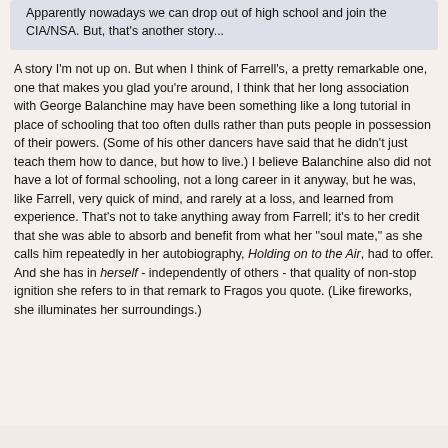Apparently nowadays we can drop out of high school and join the CIA/NSA. But, that's another story...
A story I'm not up on. But when I think of Farrell's, a pretty remarkable one, one that makes you glad you're around, I think that her long association with George Balanchine may have been something like a long tutorial in place of schooling that too often dulls rather than puts people in possession of their powers. (Some of his other dancers have said that he didn't just teach them how to dance, but how to live.) I believe Balanchine also did not have a lot of formal schooling, not a long career in it anyway, but he was, like Farrell, very quick of mind, and rarely at a loss, and learned from experience. That's not to take anything away from Farrell; it's to her credit that she was able to absorb and benefit from what her "soul mate," as she calls him repeatedly in her autobiography, Holding on to the Air, had to offer. And she has in herself - independently of others - that quality of non-stop ignition she refers to in that remark to Fragos you quote. (Like fireworks, she illuminates her surroundings.)